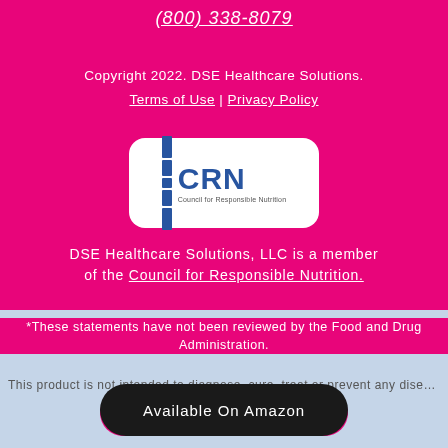(800) 338-8079
Copyright 2022. DSE Healthcare Solutions.
Terms of Use | Privacy Policy
[Figure (logo): CRN Council for Responsible Nutrition logo — white rounded rectangle with blue bars and CRN text]
DSE Healthcare Solutions, LLC is a member of the Council for Responsible Nutrition.
*These statements have not been reviewed by the Food and Drug Administration.
This product is not intended to diagnose, cure, treat or prevent any disease.
Buy Now | $19.95
Available On Amazon